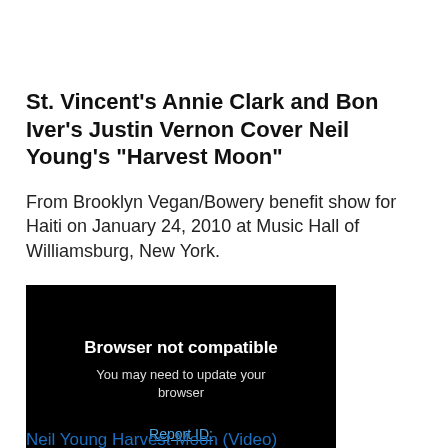St. Vincent's Annie Clark and Bon Iver's Justin Vernon Cover Neil Young's "Harvest Moon"
From Brooklyn Vegan/Bowery benefit show for Haiti on January 24, 2010 at Music Hall of Williamsburg, New York.
[Figure (screenshot): Black video player area showing 'Browser not compatible' message with 'You may need to update your browser' and a 'Report ID:' link in blue.]
Neil Young Harvest Moon (Video)